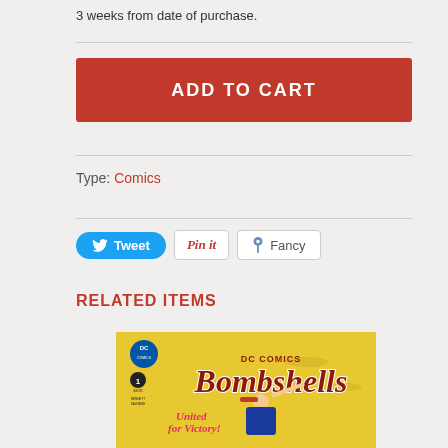3 weeks from date of purchase.
ADD TO CART
Type: Comics
Tweet  Pin it  Fancy
RELATED ITEMS
[Figure (illustration): DC Comics Bombshells #1 comic book cover featuring Supergirl in a WWII-era pin-up style. Yellow background with bombers, title 'DC Comics Bombshells' in large script lettering, 'United for Victory!' text, $3.99 price, Bennett/Sauvage credits.]